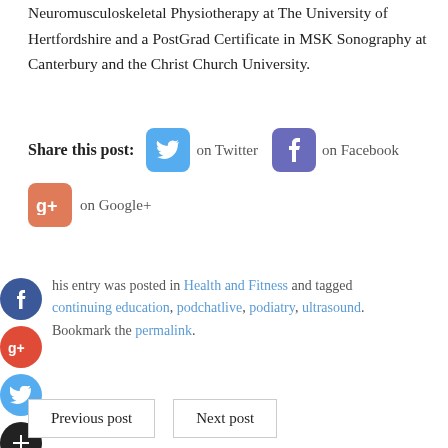Neuromusculoskeletal Physiotherapy at The University of Hertfordshire and a PostGrad Certificate in MSK Sonography at Canterbury and the Christ Church University.
Share this post: on Twitter on Facebook on Google+
This entry was posted in Health and Fitness and tagged continuing education, podchatlive, podiatry, ultrasound. Bookmark the permalink.
Previous post   Next post